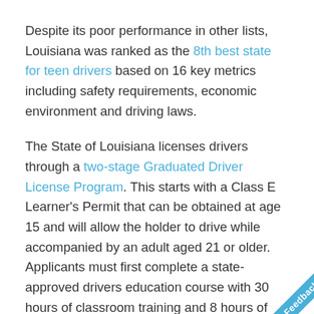Despite its poor performance in other lists, Louisiana was ranked as the 8th best state for teen drivers based on 16 key metrics including safety requirements, economic environment and driving laws.
The State of Louisiana licenses drivers through a two-stage Graduated Driver License Program. This starts with a Class E Learner's Permit that can be obtained at age 15 and will allow the holder to drive while accompanied by an adult aged 21 or older. Applicants must first complete a state-approved drivers education course with 30 hours of classroom training and 8 hours of on-the-road training. Applicants must also pass a written and vision examination, and prove attendance of high school or completion or a...